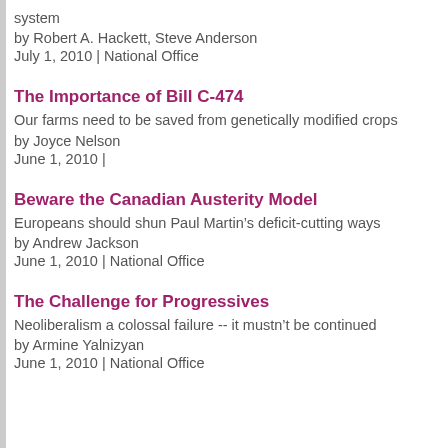system
by Robert A. Hackett, Steve Anderson
July 1, 2010 | National Office
The Importance of Bill C-474
Our farms need to be saved from genetically modified crops
by Joyce Nelson
June 1, 2010 |
Beware the Canadian Austerity Model
Europeans should shun Paul Martin's deficit-cutting ways
by Andrew Jackson
June 1, 2010 | National Office
The Challenge for Progressives
Neoliberalism a colossal failure -- it mustn't be continued
by Armine Yalnizyan
June 1, 2010 | National Office